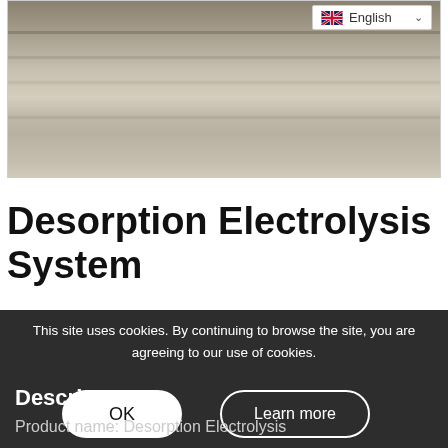[Figure (photo): Photograph of stone or concrete floor tiles with a grey/beige tone, viewed at a slight angle. A language selector dropdown showing 'English' with a UK flag is overlaid in the top right corner of the image.]
Desorption Electrolysis System
Category: Cyanidation Equipment
This site uses cookies. By continuing to browse the site, you are agreeing to our use of cookies.
Descri
Product name: Desorption Electrolysis